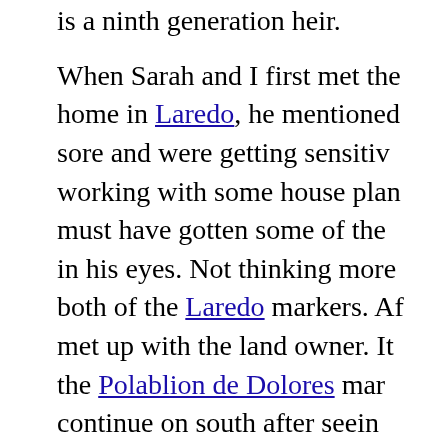is a ninth generation heir.

When Sarah and I first met the home in Laredo, he mentioned sore and were getting sensitive working with some house plan must have gotten some of the in his eyes. Not thinking more both of the Laredo markers. After met up with the land owner. It the Polablion de Dolores mark continue on south after seeing take three vehicles; I drove alo SUV while Sarah rode with the

As it had been many years sin marker, the padlocks weren't w opening up. Finally, after passi and only taking one wrong turn disappeared, we were nearing mentioned flashing instrument lights that sometimes flash is t Wheel Drive." I sure didn't war